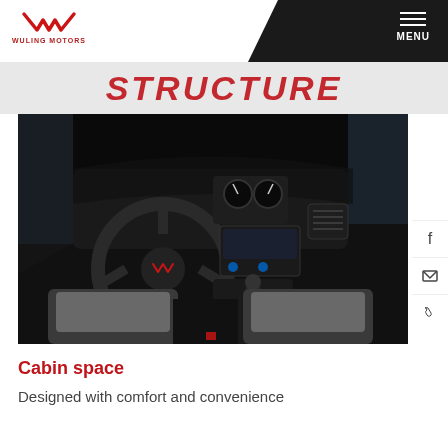WULING MOTORS | MENU
STRUCTURE
[Figure (photo): Interior view of Wuling vehicle cabin showing steering wheel with Wuling logo, dashboard, center console, gear shift, and front seats with gray upholstery]
Cabin space
Designed with comfort and convenience